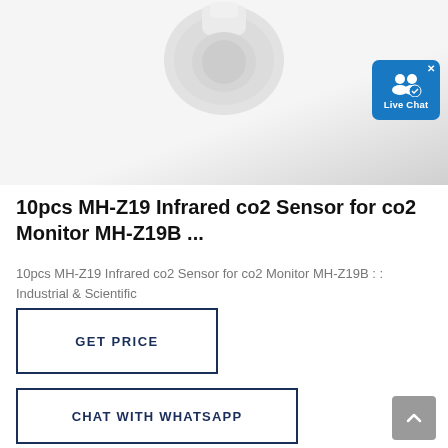[Figure (photo): Product photo of MH-Z19 infrared CO2 sensor on white/grey background, with a blue Live Chat badge in the top-right corner]
10pcs MH-Z19 Infrared co2 Sensor for co2 Monitor MH-Z19B ...
10pcs MH-Z19 Infrared co2 Sensor for co2 Monitor MH-Z19B : : Industrial & Scientific
GET PRICE
CHAT WITH WHATSAPP